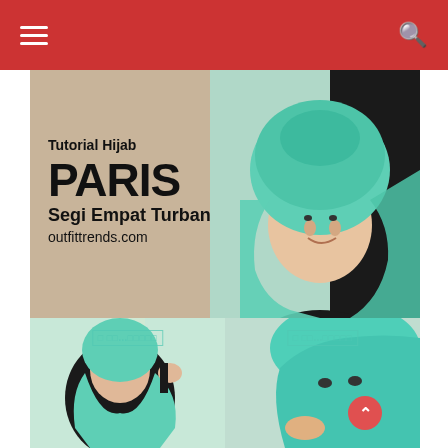Navigation bar with hamburger menu and search icon
[Figure (photo): Tutorial Hijab Paris Segi Empat Turban - main hero image showing a woman wearing a teal/mint green hijab styled as a turban, with text overlay reading 'Tutorial Hijab PARIS Segi Empat Turban outfittrends.com']
[Figure (photo): Step-by-step hijab tutorial photo (left): woman in black outfit placing teal hijab on head, with watermark overlay]
[Figure (photo): Step-by-step hijab tutorial photo (right): close-up of woman adjusting teal hijab turban style, with watermark overlay]